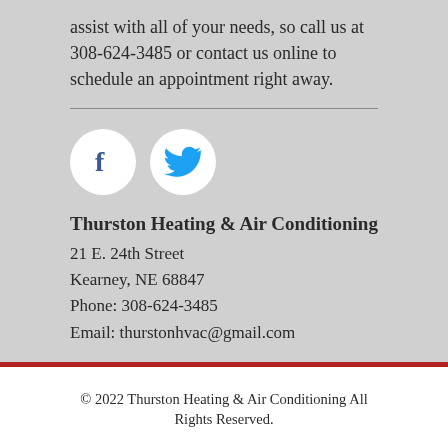assist with all of your needs, so call us at 308-624-3485 or contact us online to schedule an appointment right away.
[Figure (illustration): Facebook and Twitter social media icons as circular white buttons on grey background]
Thurston Heating & Air Conditioning
21 E. 24th Street
Kearney, NE 68847
Phone: 308-624-3485
Email: thurstonhvac@gmail.com
© 2022 Thurston Heating & Air Conditioning All Rights Reserved.